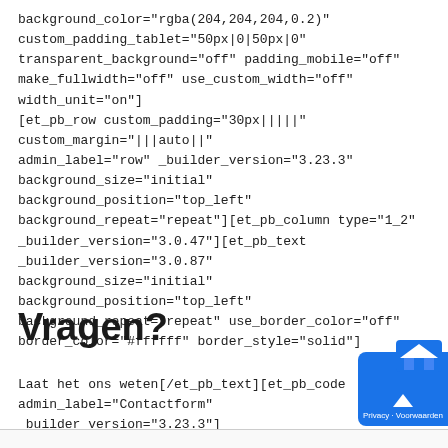background_color="rgba(204,204,204,0.2)" custom_padding_tablet="50px|0|50px|0" transparent_background="off" padding_mobile="off" make_fullwidth="off" use_custom_width="off" width_unit="on"] [et_pb_row custom_padding="30px|||||" custom_margin="|||auto||" admin_label="row" _builder_version="3.23.3" background_size="initial" background_position="top_left" background_repeat="repeat"][et_pb_column type="1_2" _builder_version="3.0.47"][et_pb_text _builder_version="3.0.87" background_size="initial" background_position="top_left" background_repeat="repeat" use_border_color="off" border_color="#ffffff" border_style="solid"]
Vragen?
Laat het ons weten[/et_pb_text][et_pb_code admin_label="Contactform" _builder_version="3.23.3"]